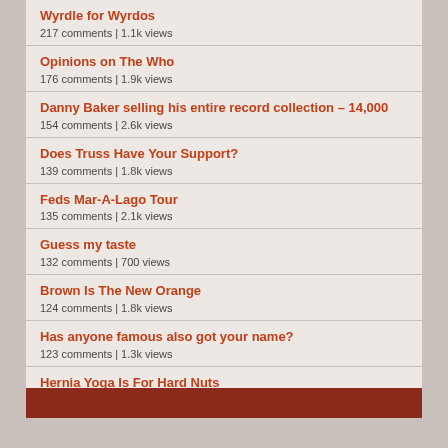Wyrdle for Wyrdos
217 comments | 1.1k views
Opinions on The Who
176 comments | 1.9k views
Danny Baker selling his entire record collection – 14,000
154 comments | 2.6k views
Does Truss Have Your Support?
139 comments | 1.8k views
Feds Mar-A-Lago Tour
135 comments | 2.1k views
Guess my taste
132 comments | 700 views
Brown Is The New Orange
124 comments | 1.8k views
Has anyone famous also got your name?
123 comments | 1.3k views
Hernia Yoga Is For Hard Nuts
120 comments | 800 views